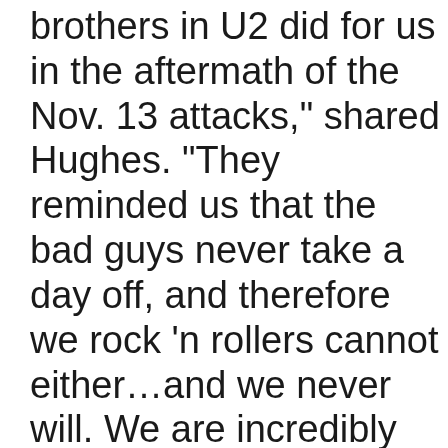brothers in U2 did for us in the aftermath of the Nov. 13 attacks," shared Hughes. "They reminded us that the bad guys never take a day off, and therefore we rock ‘n rollers cannot either…and we never will. We are incredibly grateful to U2 for providing us the opportunity to return to Paris so quickly, and to share in the healing power of rock ‘n roll with so many of the beautiful people—